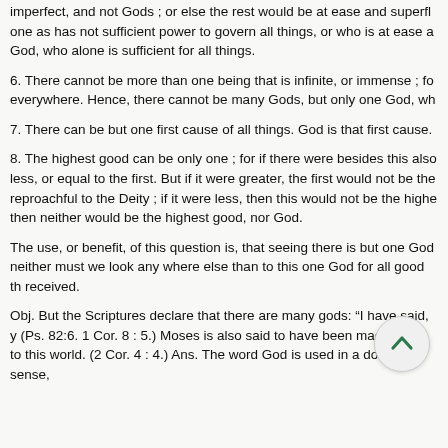imperfect, and not Gods ; or else the rest would be at ease and superfl one as has not sufficient power to govern all things, or who is at ease a God, who alone is sufficient for all things.
6. There cannot be more than one being that is infinite, or immense ; fo everywhere. Hence, there cannot be many Gods, but only one God, wh
7. There can be but one first cause of all things. God is that first cause.
8. The highest good can be only one ; for if there were besides this also less, or equal to the first. But if it were greater, the first would not be the reproachful to the Deity ; if it were less, then this would not be the highe then neither would be the highest good, nor God.
The use, or benefit, of this question is, that seeing there is but one God neither must we look any where else than to this one God for all good th received.
Obj. But the Scriptures declare that there are many gods: “I have said, y (Ps. 82:6. 1 Cor. 8 : 5.) Moses is also said to have been made a god to this world. (2 Cor. 4 : 4.) Ans. The word God is used in a double sense,